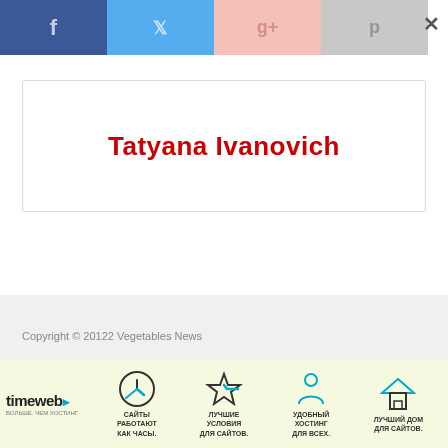[Figure (screenshot): Social share buttons bar: Facebook (blue), Twitter (light blue), Google+ (light pink), Pinterest (grey), with X close button on the right]
Tatyana Ivanovich
Copyright © 20122 Vegetables News
[Figure (illustration): Timeweb hosting advertisement banner with clock icon, star icon, person icon, and house icon with Russian text about hosting services]